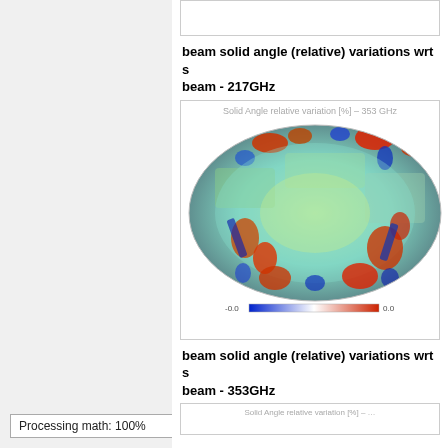[Figure (other): Partial top figure box (cropped), light border on white background]
beam solid angle (relative) variations wrt s beam - 217GHz
[Figure (continuous-plot): Mollweide projection sky map showing solid angle relative variation [%] at 353 GHz, colored from blue (negative) through green/yellow (near zero) to red (positive), with colorbar from -0.0 to 0.0 at the bottom and title 'Solid Angle relative variation [%] - 353 GHz']
beam solid angle (relative) variations wrt s beam - 353GHz
[Figure (continuous-plot): Partial Mollweide projection sky map at bottom of page (cropped)]
Processing math: 100%